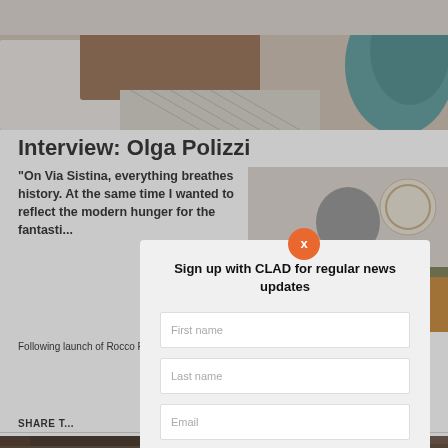[Figure (photo): Top portion of a hotel bedroom/interior design photo showing a bed with brown textile, patterned rug, and teal velvet chair]
Interview: Olga Polizzi
"On Via Sistina, everything breathes history. At the same time I wanted to reflect the modern hunger for the fantasti...
[Figure (photo): Portrait photo of Olga Polizzi seated, wearing dark sweater, with a decorative plate on wall behind her]
Following launch of Rocco Fo... ...oject
SHARE T...
[Figure (screenshot): Modal popup: Sign up with CLAD for regular news updates, with First name, Last name, Email input fields and SIGN UP button]
[Figure (photo): Bottom left interior photo showing dark wood log cabin architecture with greenery]
[Figure (photo): Bottom right interior photo showing dark wood shelving/architecture]